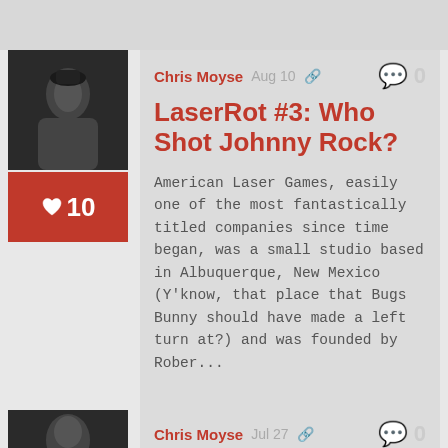Chris Moyse  Aug 10
0
LaserRot #3: Who Shot Johnny Rock?
American Laser Games, easily one of the most fantastically titled companies since time began, was a small studio based in Albuquerque, New Mexico (Y'know, that place that Bugs Bunny should have made a left turn at?) and was founded by Rober...
♡10
Chris Moyse  Jul 27
0